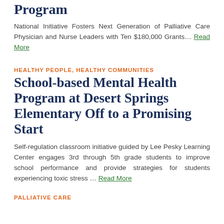Program
National Initiative Fosters Next Generation of Palliative Care Physician and Nurse Leaders with Ten $180,000 Grants… Read More
HEALTHY PEOPLE, HEALTHY COMMUNITIES
School-based Mental Health Program at Desert Springs Elementary Off to a Promising Start
Self-regulation classroom initiative guided by Lee Pesky Learning Center engages 3rd through 5th grade students to improve school performance and provide strategies for students experiencing toxic stress … Read More
PALLIATIVE CARE